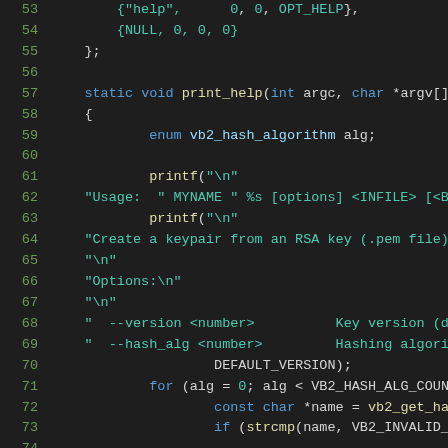[Figure (screenshot): Source code listing in a dark-themed code editor showing C code lines 53-73, with line numbers in green on the left and syntax-highlighted code on the right. Keywords in blue, strings in teal/green, identifiers in light blue/teal.]